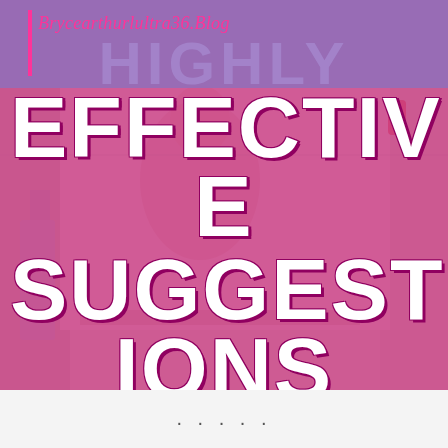Brycearthurlultra36.Blog
HIGHLY EFFECTIVE SUGGESTIONS FOR THE WEBLOG
[Figure (illustration): Blog post thumbnail image with pink overlay showing a person studying/working, with large bold white text overlay reading HIGHLY EFFECTIVE SUGGESTIONS FOR THE WEBLOG on a pink/magenta background]
...